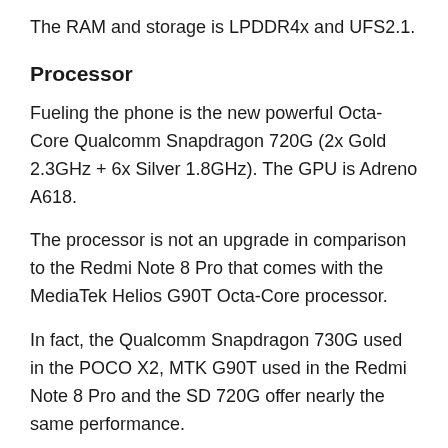The RAM and storage is LPDDR4x and UFS2.1.
Processor
Fueling the phone is the new powerful Octa-Core Qualcomm Snapdragon 720G (2x Gold 2.3GHz + 6x Silver 1.8GHz). The GPU is Adreno A618.
The processor is not an upgrade in comparison to the Redmi Note 8 Pro that comes with the MediaTek Helios G90T Octa-Core processor.
In fact, the Qualcomm Snapdragon 730G used in the POCO X2, MTK G90T used in the Redmi Note 8 Pro and the SD 720G offer nearly the same performance.
All three phones score close to 280,000 on the Antutu benchmarks and it is hard to differentiate in terms of real-life performance. However, for gaming, the G90T offers slightly